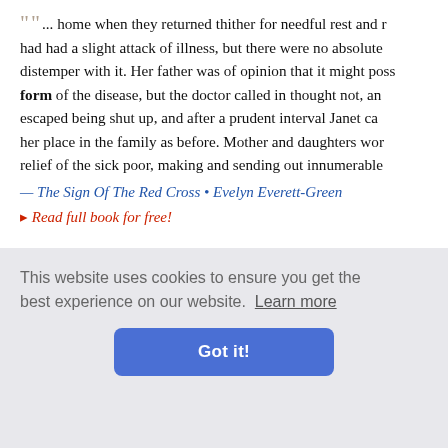"... home when they returned thither for needful rest and r... had had a slight attack of illness, but there were no absolute distemper with it. Her father was of opinion that it might poss form of the disease, but the doctor called in thought not, an escaped being shut up, and after a prudent interval Janet ca her place in the family as before. Mother and daughters wor relief of the sick poor, making and sending out innumerable
— The Sign Of The Red Cross • Evelyn Everett-Green
▸ Read full book for free!
"... I said. "What I want to know is—what's the meaning of the bilious-hued telegraph form under his nose, just as Mrs.
Novel • P.
This website uses cookies to ensure you get the best experience on our website. Learn more
Got it!
s? How wa t was unsp heart swell with pride and satisfaction, causing her to forget